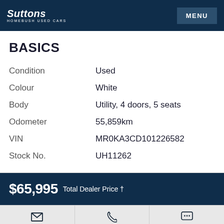Suttons HOMEBUSH USED CARS | MENU
BASICS
| Field | Value |
| --- | --- |
| Condition | Used |
| Colour | White |
| Body | Utility, 4 doors, 5 seats |
| Odometer | 55,859km |
| VIN | MR0KA3CD101226582 |
| Stock No. | UH11262 |
$65,995 Total Dealer Price †
Enquire | (02) 9746 4500 | Chat